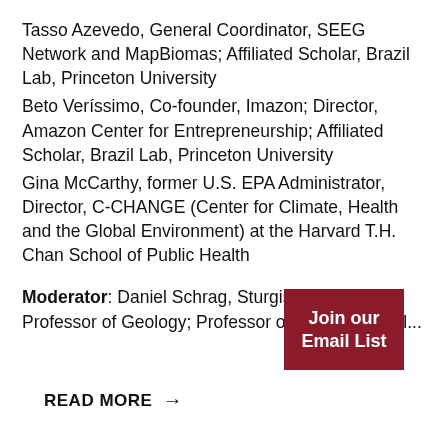Tasso Azevedo, General Coordinator, SEEG Network and MapBiomas; Affiliated Scholar, Brazil Lab, Princeton University
Beto Veríssimo, Co-founder, Imazon; Director, Amazon Center for Entrepreneurship; Affiliated Scholar, Brazil Lab, Princeton University
Gina McCarthy, former U.S. EPA Administrator, Director, C-CHANGE (Center for Climate, Health and the Global Environment) at the Harvard T.H. Chan School of Public Health
Moderator: Daniel Schrag, Sturgis Hooper Professor of Geology; Professor of Environmental...
[Figure (other): Dark red button with white bold text reading 'Join our Email List']
READ MORE →